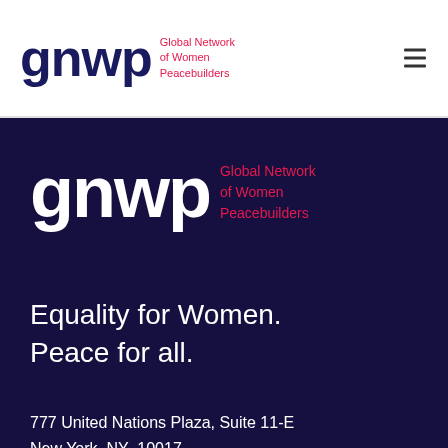gnwp Global Network of Women Peacebuilders
[Figure (logo): GNWP logo in dark navy with red tagline text 'Global Network of Women Peacebuilders' on white background footer area]
Equality for Women.
Peace for all.
777 United Nations Plaza, Suite 11-E
New York, NY  10017